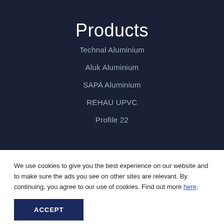Products
Technal Aluminium
Aluk Aluminium
SAPA Aluminium
REHAU UPVC
Profile 22
We use cookies to give you the best experience on our website and to make sure the ads you see on other sites are relevant. By continuing, you agree to our use of cookies. Find out more here.
ACCEPT